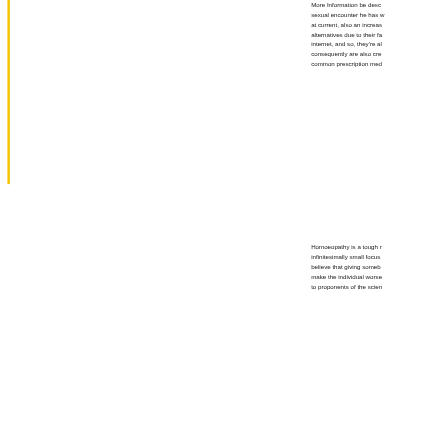More Information be desc... sexual encounter he has w... at current, also an increas... alternatives due to their fa... internet, and so, they're al... consequently are also cre... common prescription med...
Homoeopathy is a tough r... infinitesimally small focus ... believe that giving someb... make the individual worse... to proponents of the scien...